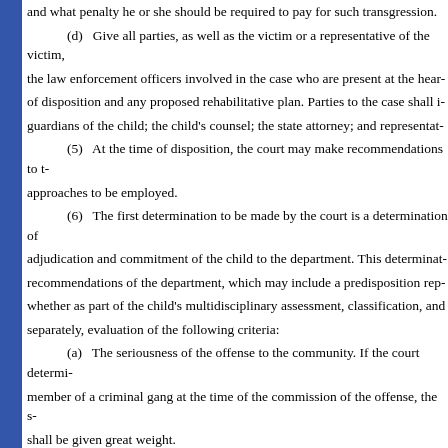and what penalty he or she should be required to pay for such transgression.
(d) Give all parties, as well as the victim or a representative of the victim, the law enforcement officers involved in the case who are present at the hearing, an opportunity to comment on the proposed disposition and any proposed rehabilitative plan. Parties to the case shall include: the parents or guardians of the child; the child's counsel; the state attorney; and representatives of the department.
(5) At the time of disposition, the court may make recommendations to the department as to the approaches to be employed.
(6) The first determination to be made by the court is a determination of whether to impose adjudication and commitment of the child to the department. This determination shall be based on the recommendations of the department, which may include a predisposition report, and shall include, whether as part of the child's multidisciplinary assessment, classification, and placement process or separately, evaluation of the following criteria:
(a) The seriousness of the offense to the community. If the court determines that the child was a member of a criminal gang at the time of the commission of the offense, the seriousness of the offense shall be given great weight.
(b) Whether the protection of the community requires adjudication and commitment.
(c) Whether the offense was committed in an aggressive, violent, premeditated, or willful manner.
(d) Whether the offense was against persons or against property, greater weight being given to offenses against persons, especially if personal injury resulted.
(e) The sophistication and maturity of the child.
(f) The record and previous criminal history of the child, including without limitation:
1. Previous contacts with the department, the former Department of Health and Rehabilitative Services, the Department of Children and Family Services, the Department of Corrections,